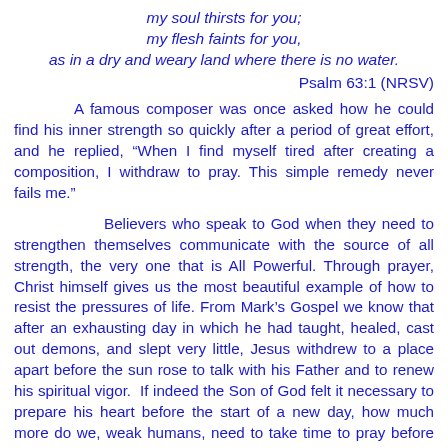my soul thirsts for you;
my flesh faints for you,
as in a dry and weary land where there is no water.
Psalm 63:1 (NRSV)
A famous composer was once asked how he could find his inner strength so quickly after a period of great effort, and he replied, “When I find myself tired after creating a composition, I withdraw to pray. This simple remedy never fails me.”
Believers who speak to God when they need to strengthen themselves communicate with the source of all strength, the very one that is All Powerful. Through prayer, Christ himself gives us the most beautiful example of how to resist the pressures of life. From Mark’s Gospel we know that after an exhausting day in which he had taught, healed, cast out demons, and slept very little, Jesus withdrew to a place apart before the sun rose to talk with his Father and to renew his spiritual vigor.  If indeed the Son of God felt it necessary to prepare his heart before the start of a new day, how much more do we, weak humans, need to take time to pray before facing our responsibilities.